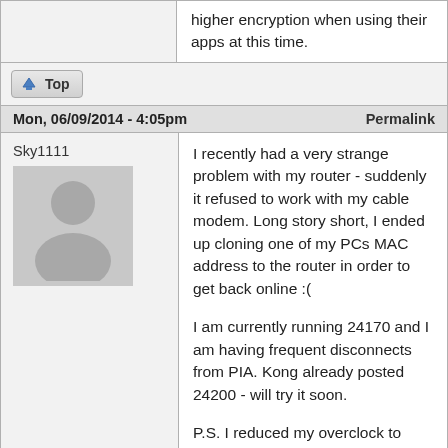higher encryption when using their apps at this time.
Top
Mon, 06/09/2014 - 4:05pm    Permalink
Sky1111
[Figure (illustration): Generic user avatar silhouette in grey]
I recently had a very strange problem with my router - suddenly it refused to work with my cable modem. Long story short, I ended up cloning one of my PCs MAC address to the router in order to get back online :(

I am currently running 24170 and I am having frequent disconnects from PIA. Kong already posted 24200 - will try it soon.

P.S. I reduced my overclock to